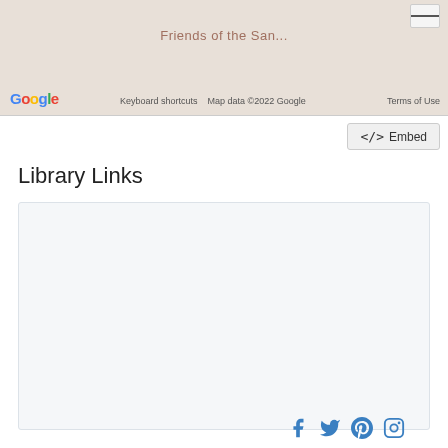[Figure (screenshot): Google Maps partial view showing map with 'Friends of the San...' label overlay, Google logo, keyboard shortcuts, map data copyright 2022 Google, Terms of Use link, and a hamburger menu button]
<> Embed
Library Links
[Figure (infographic): Library Links widget box with social media icons (Facebook, Twitter, Pinterest, Instagram) and a list of links: About, Services, Calendar, Libraries, each with an info circle icon]
About
Services
Calendar
Libraries